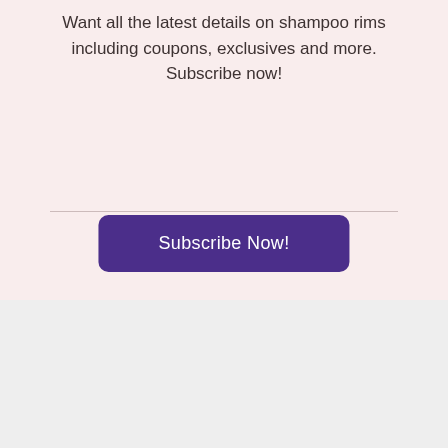Want all the latest details on shampoo rims including coupons, exclusives and more. Subscribe now!
Subscribe Now!